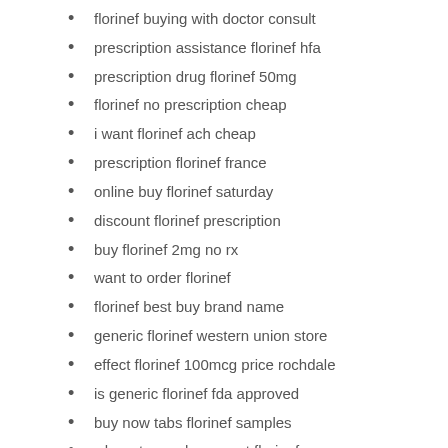florinef buying with doctor consult
prescription assistance florinef hfa
prescription drug florinef 50mg
florinef no prescription cheap
i want florinef ach cheap
prescription florinef france
online buy florinef saturday
discount florinef prescription
buy florinef 2mg no rx
want to order florinef
florinef best buy brand name
generic florinef western union store
effect florinef 100mcg price rochdale
is generic florinef fda approved
buy now tabs florinef samples
where to purchase next florinef
get now florinef germany
want to purchase florinef
pack cost florinef 24
discount florinef fresno
buy generic save florinef mark
how to purchase florinef
florinef get now secure ordering